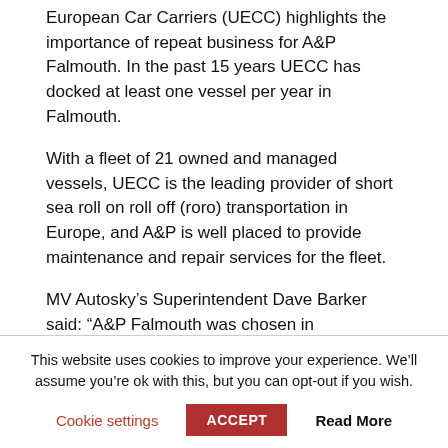European Car Carriers (UECC) highlights the importance of repeat business for A&P Falmouth. In the past 15 years UECC has docked at least one vessel per year in Falmouth.
With a fleet of 21 owned and managed vessels, UECC is the leading provider of short sea roll on roll off (roro) transportation in Europe, and A&P is well placed to provide maintenance and repair services for the fleet.
MV Autosky’s Superintendent Dave Barker said: “A&P Falmouth was chosen in competition with other north European yards for the dry docking, maintenance and repairs of the Autosky.
This website uses cookies to improve your experience. We’ll assume you’re ok with this, but you can opt-out if you wish.
Cookie settings | ACCEPT | Read More